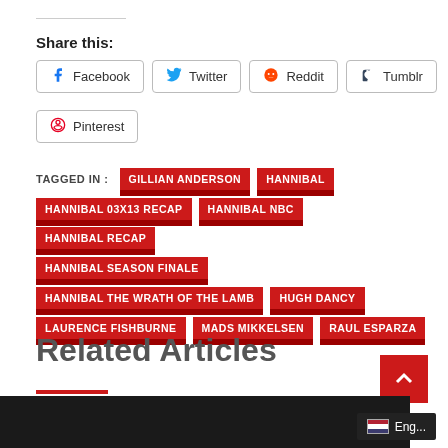Share this:
Facebook  Twitter  Reddit  Tumblr  Pinterest
TAGGED IN : GILLIAN ANDERSON  HANNIBAL  HANNIBAL 03X13 RECAP  HANNIBAL NBC  HANNIBAL RECAP  HANNIBAL SEASON FINALE  HANNIBAL THE WRATH OF THE LAMB  HUGH DANCY  LAURENCE FISHBURNE  MADS MIKKELSEN  RAUL ESPARZA
Related Articles
[Figure (photo): Partial photo strip at bottom of page]